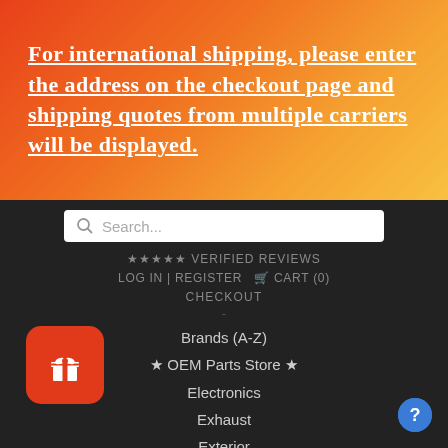For international shipping, please enter the address on the checkout page and shipping quotes from multiple carriers will be displayed.
[Figure (screenshot): Search bar with magnifying glass icon and placeholder text 'Search...']
★★★★★ VERIFIED REVIEWS
LOG IN | REGISTER  🛒 CART (0)
CHECKOUT
-
Brands (A-Z)
★ OEM Parts Store ★
Electronics
Exhaust
Exterior
Interior
[Figure (illustration): Red rounded square icon with a white gift/present symbol]
[Figure (illustration): Blue circular info button with question mark or i icon]